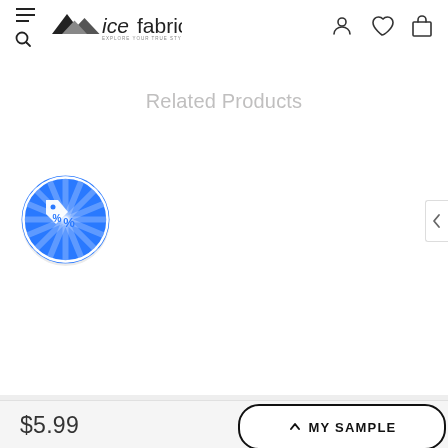[Figure (screenshot): icefabrics e-commerce website header with hamburger menu, search icon, logo, user icon, heart/wishlist icon, and shopping bag icon]
Related Products
[Figure (logo): Blue circular discount badge with a price tag icon showing a percent symbol, with radiating lines in the background]
$5.99
MY SAMPLE